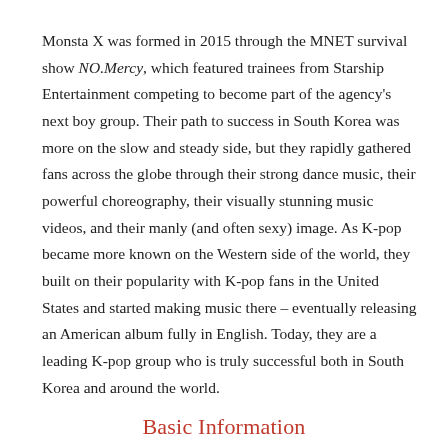Monsta X was formed in 2015 through the MNET survival show NO.Mercy, which featured trainees from Starship Entertainment competing to become part of the agency's next boy group. Their path to success in South Korea was more on the slow and steady side, but they rapidly gathered fans across the globe through their strong dance music, their powerful choreography, their visually stunning music videos, and their manly (and often sexy) image. As K-pop became more known on the Western side of the world, they built on their popularity with K-pop fans in the United States and started making music there – eventually releasing an American album fully in English. Today, they are a leading K-pop group who is truly successful both in South Korea and around the world.
Basic Information